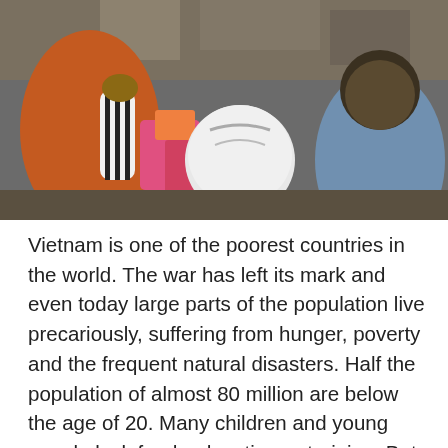[Figure (photo): A grainy photograph showing people exchanging or handling colorful bags and packages, including pink and orange items. The scene appears to depict food or aid distribution.]
Vietnam is one of the poorest countries in the world. The war has left its mark and even today large parts of the population live precariously, suffering from hunger, poverty and the frequent natural disasters. Half the population of almost 80 million are below the age of 20. Many children and young people lack food, education or training. But Vietnam's future depends on its children's development. The lack of social services also heavily impacts the elderly and handicapped who often find